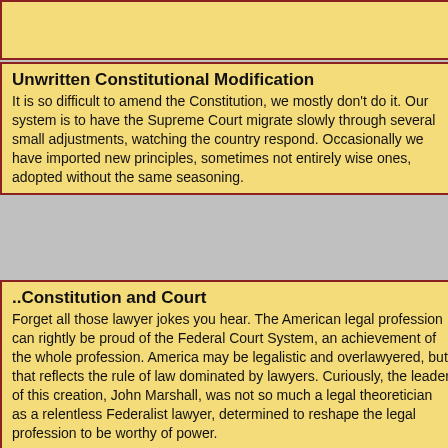Unwritten Constitutional Modification
It is so difficult to amend the Constitution, we mostly don't do it. Our system is to have the Supreme Court migrate slowly through several small adjustments, watching the country respond. Occasionally we have imported new principles, sometimes not entirely wise ones, adopted without the same seasoning.
..Constitution and Court
Forget all those lawyer jokes you hear. The American legal profession can rightly be proud of the Federal Court System, an achievement of the whole profession. America may be legalistic and overlawyered, but that reflects the rule of law dominated by lawyers. Curiously, the leader of this creation, John Marshall, was not so much a legal theoretician as a relentless Federalist lawyer, determined to reshape the legal profession to be worthy of power.
Right Angle Club: 2013